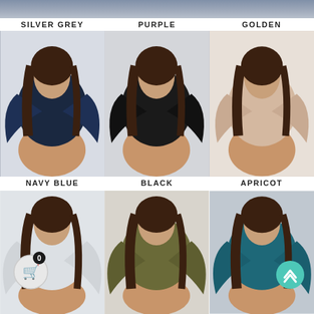[Figure (photo): Product listing page showing women's long-sleeve flare-sleeve bodysuit in 6 color variants arranged in 2 rows of 3. Top row labeled SILVER GREY (dark navy), PURPLE (black), GOLDEN (apricot/beige). Bottom row labeled NAVY BLUE (light grey/white), BLACK (olive green), APRICOT (teal/blue). Each variant shows a model wearing the garment. UI overlays include a shopping cart icon badge (bottom left) and a scroll-to-top button (bottom right).]